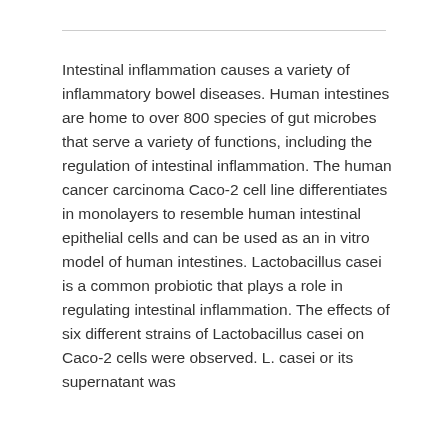Intestinal inflammation causes a variety of inflammatory bowel diseases. Human intestines are home to over 800 species of gut microbes that serve a variety of functions, including the regulation of intestinal inflammation. The human cancer carcinoma Caco-2 cell line differentiates in monolayers to resemble human intestinal epithelial cells and can be used as an in vitro model of human intestines. Lactobacillus casei is a common probiotic that plays a role in regulating intestinal inflammation. The effects of six different strains of Lactobacillus casei on Caco-2 cells were observed. L. casei or its supernatant was